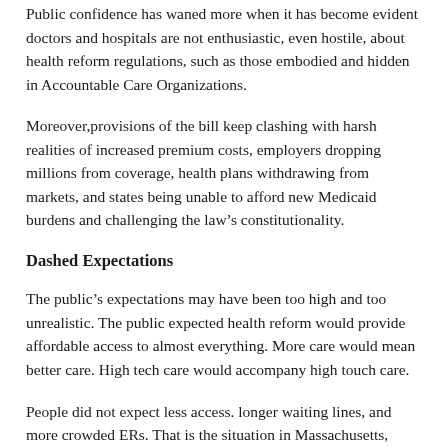Public confidence has waned more when it has become evident doctors and hospitals are not enthusiastic, even hostile, about health reform regulations, such as those embodied and hidden in Accountable Care Organizations.
Moreover,provisions of the bill keep clashing with harsh realities of increased premium costs, employers dropping millions from coverage, health plans withdrawing from markets, and states being unable to afford new Medicaid burdens and challenging the law's constitutionality.
Dashed Expectations
The public's expectations may have been too high and too unrealistic. The public expected health reform would provide affordable access to almost everything. More care would mean better care. High tech care would accompany high touch care.
People did not expect less access. longer waiting lines, and more crowded ERs. That is the situation in Massachusetts, whose 5 year old universal plan was considered a poster